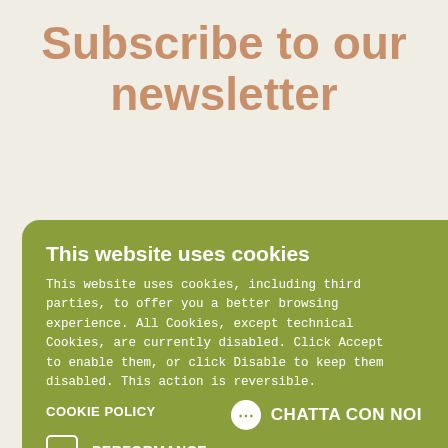Subscribe to our newsletter
[Figure (screenshot): Cookie consent modal overlaying a newsletter subscription page. Modal has title 'This website uses cookies', body text about cookies and third parties, COOKIE POLICY link, checkboxes for PERFORMANCE and UNCLASSIFIED, ENABLE and DISABLE buttons. Behind it, partial text about signing up for newsletter. Bottom right has a green chat button 'CHATTA CON NOI'.]